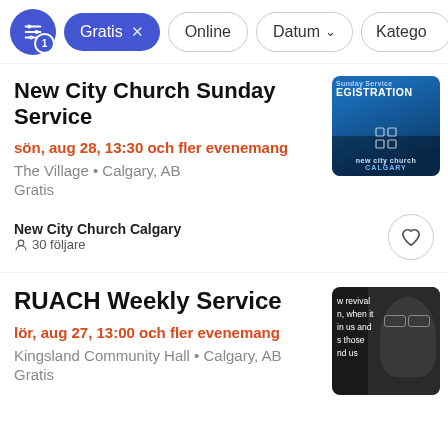Gratis  Online  Datum  Katego
New City Church Sunday Service
sön, aug 28, 13:30 och fler evenemang
The Village • Calgary, AB
Gratis
New City Church Calgary
30 följare
[Figure (screenshot): New City Church Sunday Service registration thumbnail with city skyline and church logo on blue background]
RUACH Weekly Service
lör, aug 27, 13:00 och fler evenemang
Kingsland Community Hall • Calgary, AB
Gratis
[Figure (photo): RUACH Weekly Service thumbnail showing a woman with glasses and text about revival]